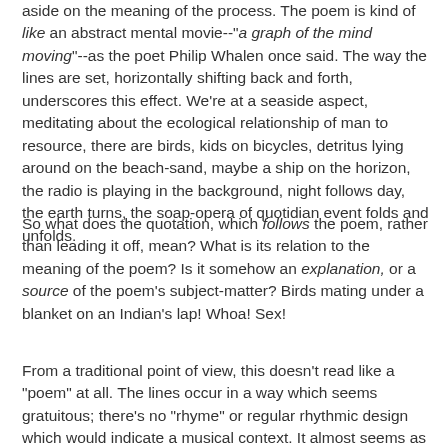aside on the meaning of the process. The poem is kind of like an abstract mental movie--"a graph of the mind moving"--as the poet Philip Whalen once said. The way the lines are set, horizontally shifting back and forth, underscores this effect. We're at a seaside aspect, meditating about the ecological relationship of man to resource, there are birds, kids on bicycles, detritus lying around on the beach-sand, maybe a ship on the horizon, the radio is playing in the background, night follows day, the earth turns, the soap-opera of quotidian event folds and unfolds.
So what does the quotation, which follows the poem, rather than leading it off, mean? What is its relation to the meaning of the poem? Is it somehow an explanation, or a source of the poem's subject-matter? Birds mating under a blanket on an Indian's lap! Whoa! Sex!
From a traditional point of view, this doesn't read like a "poem" at all. The lines occur in a way which seems gratuitous; there's no "rhyme" or regular rhythmic design which would indicate a musical context. It almost seems as